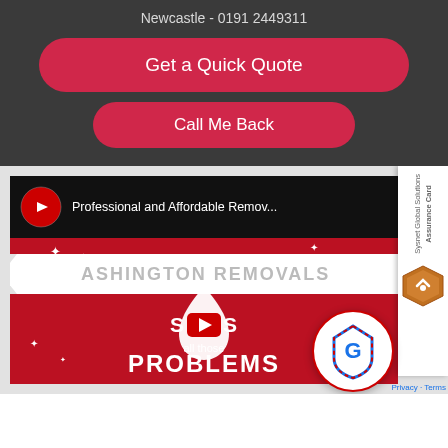Newcastle - 0191 2449311
Get a Quick Quote
Call Me Back
[Figure (screenshot): Screenshot of a website for Ashington Removals showing a YouTube video thumbnail with the title 'Professional and Affordable Remov...' and text 'ASHINGTON REMOVALS', 'SOLVES all those PROBLEMS' on a red background with sparkle stars, YouTube play button overlay, and a Google Reviews badge in the bottom-right corner. A partially visible Sysnet Global Solutions Assurance Card is on the right side.]